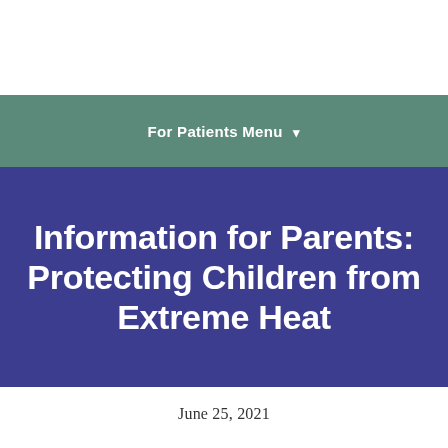For Patients Menu ▾
Information for Parents: Protecting Children from Extreme Heat
June 25, 2021